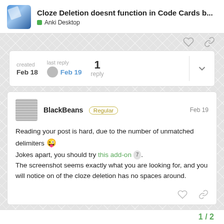Cloze Deletion doesnt function in Code Cards b... | Anki Desktop
| created | last reply | replies |
| --- | --- | --- |
| Feb 18 | Feb 19 | 1 reply |
BlackBeans Regular Feb 19
Reading your post is hard, due to the number of unmatched delimiters 😜 Jokes apart, you should try this add-on 7. The screenshot seems exactly what you are looking for, and you will notice on of the cloze deletion has no spaces around.
1 / 2